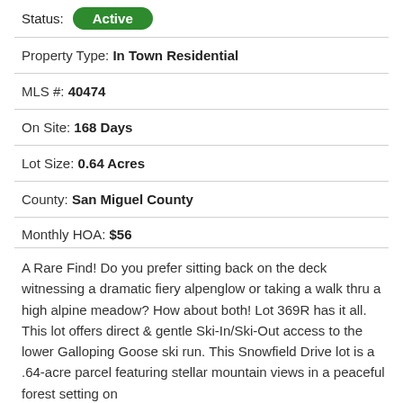Status: Active
Property Type: In Town Residential
MLS #: 40474
On Site: 168 Days
Lot Size: 0.64 Acres
County: San Miguel County
Monthly HOA: $56
A Rare Find! Do you prefer sitting back on the deck witnessing a dramatic fiery alpenglow or taking a walk thru a high alpine meadow? How about both! Lot 369R has it all. This lot offers direct & gentle Ski-In/Ski-Out access to the lower Galloping Goose ski run. This Snowfield Drive lot is a .64-acre parcel featuring stellar mountain views in a peaceful forest setting on